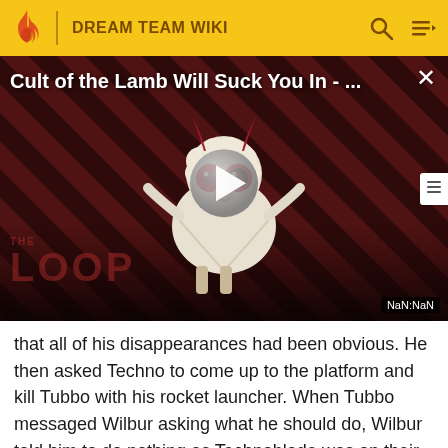DREAM TEAM WIKI
[Figure (screenshot): Video thumbnail for 'Cult of the Lamb Will Suck You In - ...' with diagonal red/dark stripe background, a cartoon lamb character with red eyes, a play button overlay, THE LOOP watermark, and NaN:NaN time display]
that all of his disappearances had been obvious. He then asked Techno to come up to the platform and kill Tubbo with his rocket launcher. When Tubbo messaged Wilbur asking what he should do, Wilbur told him to do nothing as Technoblade was on their side— but after only a bit of